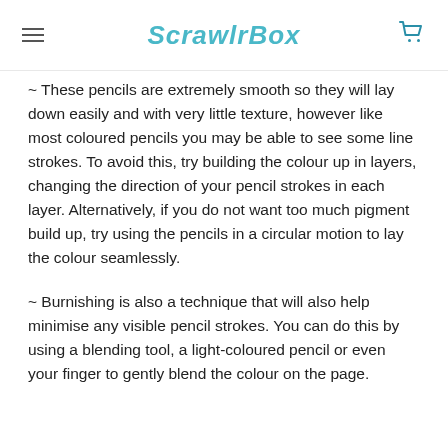ScrawlrBox
~ These pencils are extremely smooth so they will lay down easily and with very little texture, however like most coloured pencils you may be able to see some line strokes. To avoid this, try building the colour up in layers, changing the direction of your pencil strokes in each layer. Alternatively, if you do not want too much pigment build up, try using the pencils in a circular motion to lay the colour seamlessly.
~ Burnishing is also a technique that will also help minimise any visible pencil strokes. You can do this by using a blending tool, a light-coloured pencil or even your finger to gently blend the colour on the page.